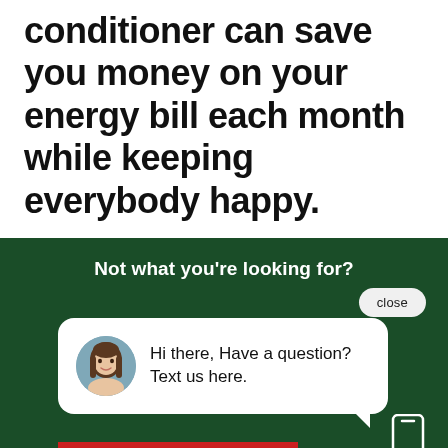conditioner can save you money on your energy bill each month while keeping everybody happy.
[Figure (screenshot): Dark green promotional banner with a chat widget overlay. Shows 'Not what you're looking for?' heading, a close button, a chat bubble with a female avatar and text 'Hi there, Have a question? Text us here.', a red input bar, a phone icon, a red underline, and partial text 'Find your service area & give our team a']